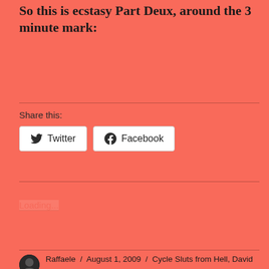So this is ecstasy Part Deux, around the 3 minute mark:
Share this:
[Figure (other): Twitter and Facebook share buttons]
Loading...
Raffaele / August 1, 2009 / Cycle Sluts from Hell, David Cassidy, Jimmy Kimmel, Ruby and the Rockits, Sean Cassidy / Leave a comment